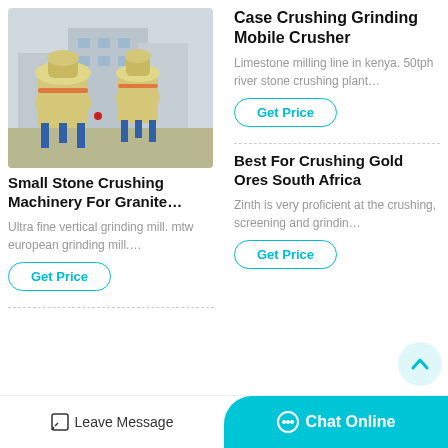[Figure (photo): Yellow industrial grinding/crushing mill machines in a factory yard]
Case Crushing Grinding Mobile Crusher
Limestone milling line in kenya. 50tph river stone crushing plant…
Get Price
Small Stone Crushing Machinery For Granite…
Ultra fine vertical grinding mill. mtw european grinding mill.…
Get Price
Best For Crushing Gold Ores South Africa
Zinth is very proficient at the crushing, screening and grindin…
Get Price
Leave Message
Chat Online